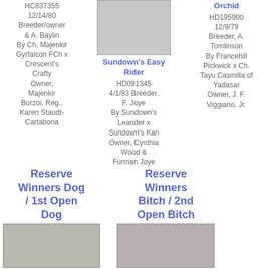HC837355
12/14/80
Breeder/owner
& A. Baylin
By Ch. Majenkir Gyrfalcon FCh x Crescent's Crafty Owner, Majenkir Borzoi, Reg., Karen Staudt-Cartabona
[Figure (photo): White dog (Borzoi) standing outdoors]
Sundown's Easy Rider
HD091345
4/1/83 Breeder, F. Joye
By Sundown's Leander x Sundown's Kari
Owner, Cynthia Wood & Furman Joye
Orchid
HD195900
12/9/79
Breeder, A. Tomlinson
By Francehill Pickwick x Ch. Tayu Casmilla of Yadasar
Owner, J. F. Viggiano, Jr.
Reserve Winners Dog / 1st Open Dog
Reserve Winners Bitch / 2nd Open Bitch
[Figure (photo): White Borzoi dog at show, bottom left]
[Figure (photo): White Borzoi dog at show, bottom right]